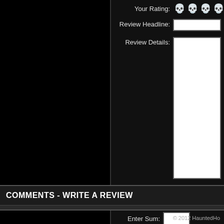Your Rating:
Review Headline:
Review Details:
Please enter the sum
3 + 9
Enter Sum:
Post My R
COMMENTS - WRITE A REVIEW
© 2012 HauntedHo